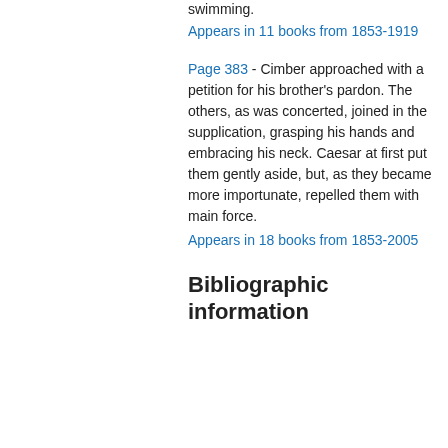swimming.
Appears in 11 books from 1853-1919
Page 383 - Cimber approached with a petition for his brother's pardon. The others, as was concerted, joined in the supplication, grasping his hands and embracing his neck. Caesar at first put them gently aside, but, as they became more importunate, repelled them with main force.
Appears in 18 books from 1853-2005
Bibliographic information